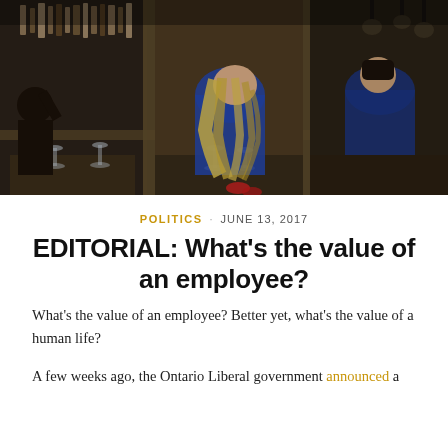[Figure (photo): Photo of a person with long blonde hair leaning over a table inside a restaurant, viewed through glass door panels. Wine glasses and bar bottles visible in background.]
POLITICS · JUNE 13, 2017
EDITORIAL: What's the value of an employee?
What's the value of an employee? Better yet, what's the value of a human life?
A few weeks ago, the Ontario Liberal government announced a